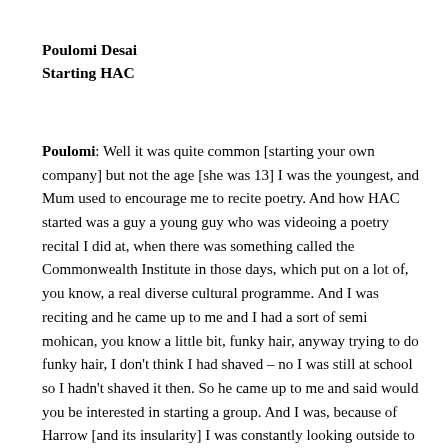Poulomi Desai
Starting HAC
Poulomi: Well it was quite common [starting your own company] but not the age [she was 13] I was the youngest, and Mum used to encourage me to recite poetry. And how HAC started was a guy a young guy who was videoing a poetry recital I did at, when there was something called the Commonwealth Institute in those days, which put on a lot of, you know, a real diverse cultural programme. And I was reciting and he came up to me and I had a sort of semi mohican, you know a little bit, funky hair, anyway trying to do funky hair, I don't think I had shaved – no I was still at school so I hadn't shaved it then. So he came up to me and said would you be interested in starting a group. And I was, because of Harrow [and its insularity] I was constantly looking outside to try and find like-minded people. Punk had happened, I was influenced by that, by the idea of the do-it-yourself,